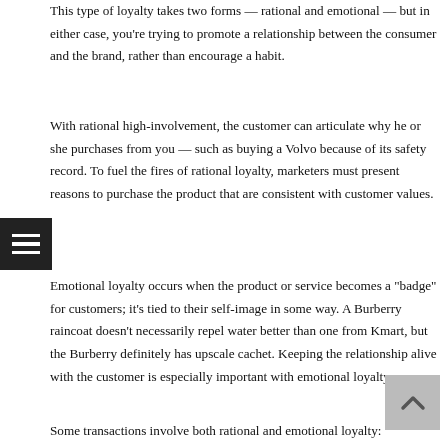This type of loyalty takes two forms — rational and emotional — but in either case, you're trying to promote a relationship between the consumer and the brand, rather than encourage a habit.
With rational high-involvement, the customer can articulate why he or she purchases from you — such as buying a Volvo because of its safety record. To fuel the fires of rational loyalty, marketers must present reasons to purchase the product that are consistent with customer values.
Emotional loyalty occurs when the product or service becomes a "badge" for customers; it's tied to their self-image in some way. A Burberry raincoat doesn't necessarily repel water better than one from Kmart, but the Burberry definitely has upscale cachet. Keeping the relationship alive with the customer is especially important with emotional loyalty.
Some transactions involve both rational and emotional loyalty: